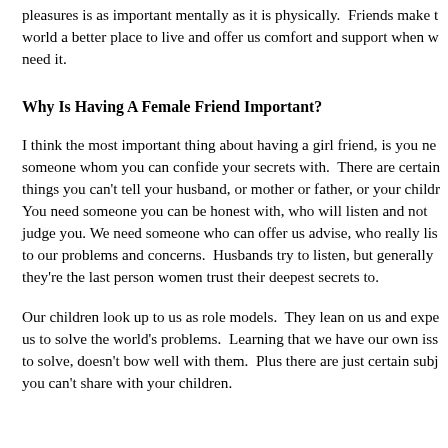pleasures is as important mentally as it is physically.  Friends make the world a better place to live and offer us comfort and support when we need it.
Why Is Having A Female Friend Important?
I think the most important thing about having a girl friend, is you need someone whom you can confide your secrets with.  There are certain things you can't tell your husband, or mother or father, or your children. You need someone you can be honest with, who will listen and not judge you. We need someone who can offer us advise, who really listens to our problems and concerns.  Husbands try to listen, but generally they're the last person women trust their deepest secrets to.
Our children look up to us as role models.  They lean on us and expect us to solve the world's problems.  Learning that we have our own issues to solve, doesn't bow well with them.  Plus there are just certain subjects you can't share with your children.